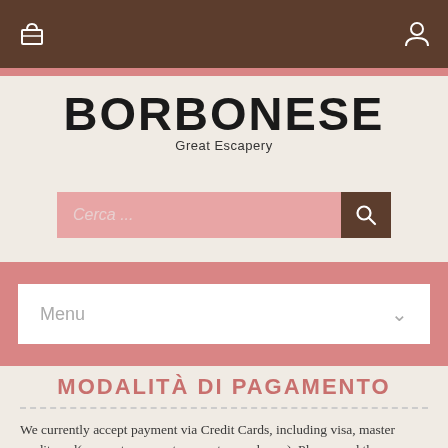[Figure (screenshot): Top navigation bar with brown background, shopping cart icon on left, user icon on right]
BORBONESE
Great Escapery
[Figure (screenshot): Pink search input field with text 'Cerca ...' and brown search button with magnifying glass icon]
[Figure (screenshot): Pink navigation container with white menu bar showing 'Menu' text and chevron down icon]
MODALITÀ DI PAGAMENTO
We currently accept payment via Credit Cards, including visa, master credit card(we are too sorry to accept paypal now). Please read the following